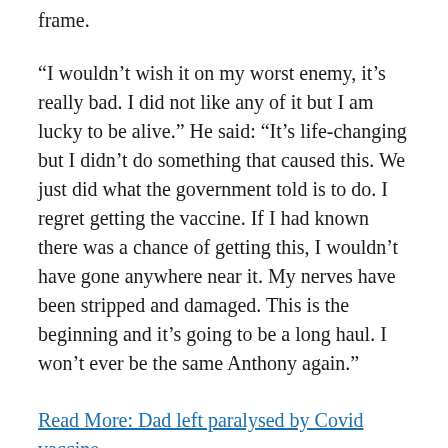frame.
“I wouldn’t wish it on my worst enemy, it’s really bad. I did not like any of it but I am lucky to be alive.” He said: “It’s life-changing but I didn’t do something that caused this. We just did what the government told is to do. I regret getting the vaccine. If I had known there was a chance of getting this, I wouldn’t have gone anywhere near it. My nerves have been stripped and damaged. This is the beginning and it’s going to be a long haul. I won’t ever be the same Anthony again.”
Read More: Dad left paralysed by Covid vaccine